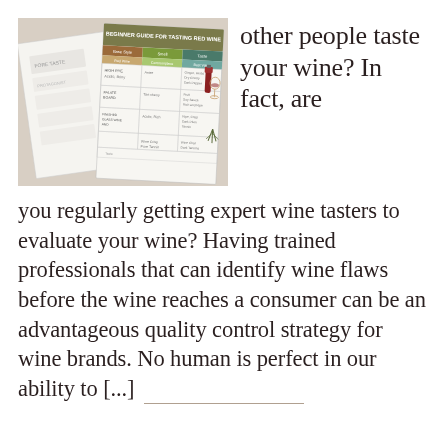[Figure (photo): Photograph of printed wine tasting sheets/worksheets laid on a beige surface, showing a grid-style tasting notes template with olive/green header and small wine bottle/glass illustrations.]
other people taste your wine? In fact, are you regularly getting expert wine tasters to evaluate your wine? Having trained professionals that can identify wine flaws before the wine reaches a consumer can be an advantageous quality control strategy for wine brands. No human is perfect in our ability to [...]